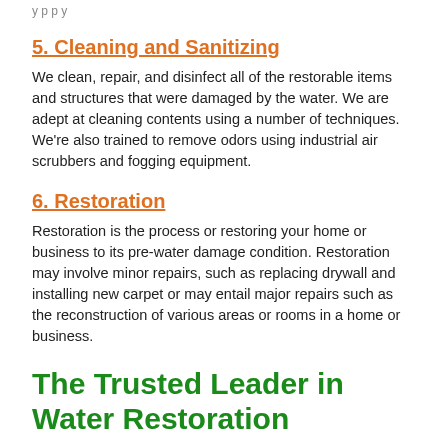5. Cleaning and Sanitizing
We clean, repair, and disinfect all of the restorable items and structures that were damaged by the water. We are adept at cleaning contents using a number of techniques. We're also trained to remove odors using industrial air scrubbers and fogging equipment.
6. Restoration
Restoration is the process or restoring your home or business to its pre-water damage condition. Restoration may involve minor repairs, such as replacing drywall and installing new carpet or may entail major repairs such as the reconstruction of various areas or rooms in a home or business.
The Trusted Leader in Water Restoration
You can trust SERVPRO of Rochester to understand your water emergency and quickly respond with the equipment